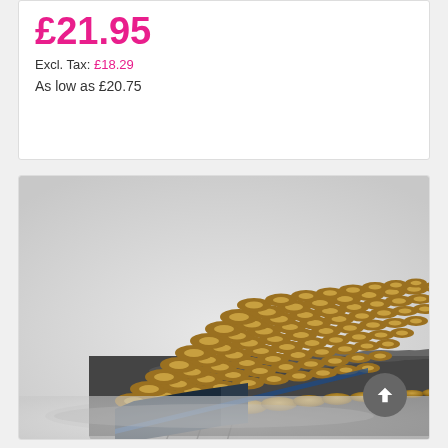£21.95
Excl. Tax: £18.29
As low as £20.75
[Figure (photo): Large quantity of Duracell AA batteries arranged in a grid/block formation on a white/grey background, viewed from a slight angle showing the tops and sides of the batteries with gold tops and dark blue/black bodies.]